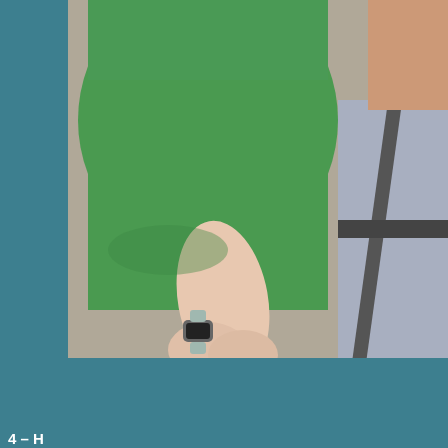[Figure (photo): Close-up photo of a child in a green t-shirt wearing a smartwatch, with hands clasped in lap, sitting next to an adult in jeans with a seatbelt visible]
Backrow: Marsha McGraw, Karen Robertson, Susan Hawkins, Co... Front Row: Lisa Crowder, Phil Rucker, Danny Lough
What can Davie County Extension do for you?
4 – H
If you have a child ages 5-18 (as of the current